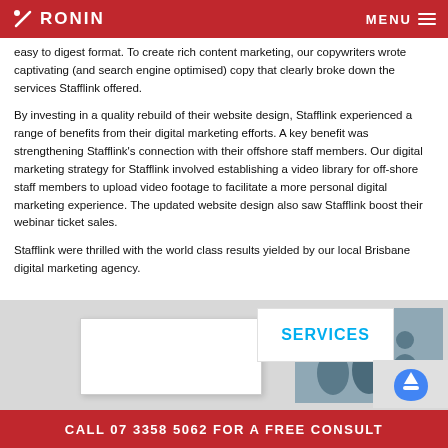RONIN | MENU
easy to digest format. To create rich content marketing, our copywriters wrote captivating (and search engine optimised) copy that clearly broke down the services Stafflink offered.
By investing in a quality rebuild of their website design, Stafflink experienced a range of benefits from their digital marketing efforts. A key benefit was strengthening Stafflink’s connection with their offshore staff members. Our digital marketing strategy for Stafflink involved establishing a video library for off-shore staff members to upload video footage to facilitate a more personal digital marketing experience. The updated website design also saw Stafflink boost their webinar ticket sales.
Stafflink were thrilled with the world class results yielded by our local Brisbane digital marketing agency.
[Figure (screenshot): Screenshot of Stafflink website showing a services page with a photo of office workers and a SERVICES heading, plus a reCAPTCHA element.]
CALL 07 3358 5062 FOR A FREE CONSULT